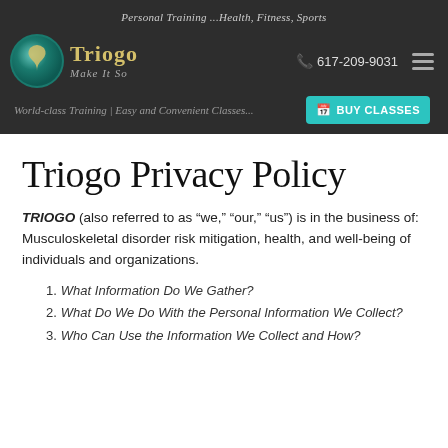Personal Training ...Health, Fitness, Sports
[Figure (logo): Triogo logo with teal circle, gold 'Triogo' text and 'Make It So' tagline. Phone number 617-209-9031 and hamburger menu on right.]
World-class Training | Easy and Convenient Classes...
BUY CLASSES
Triogo Privacy Policy
TRIOGO (also referred to as “we,” “our,” “us”) is in the business of: Musculoskeletal disorder risk mitigation, health, and well-being of individuals and organizations.
What Information Do We Gather?
What Do We Do With the Personal Information We Collect?
Who Can Use the Information We Collect and How?